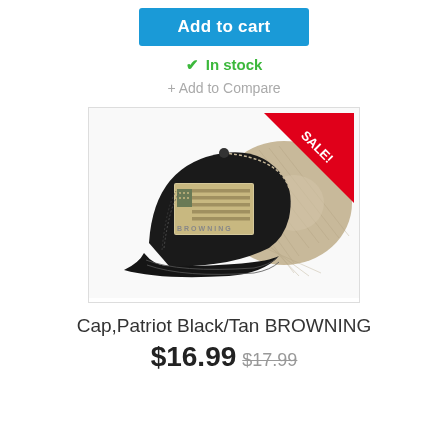Add to cart
✓ In stock
+ Add to Compare
[Figure (photo): Browning Patriot Black/Tan trucker cap with American flag embroidery on front panel and mesh back, with red SALE! corner badge]
Cap,Patriot Black/Tan BROWNING
$16.99 $17.99